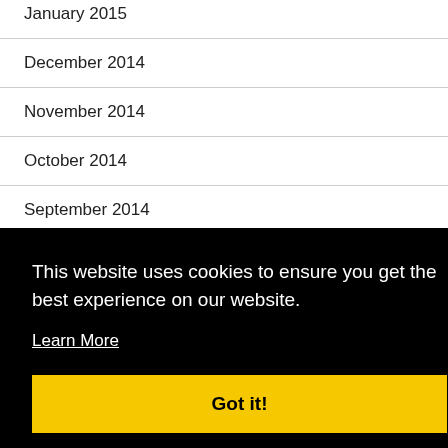January 2015
December 2014
November 2014
October 2014
September 2014
August 2014
July 2014
This website uses cookies to ensure you get the best experience on our website.
Learn More
Got it!
January 2014